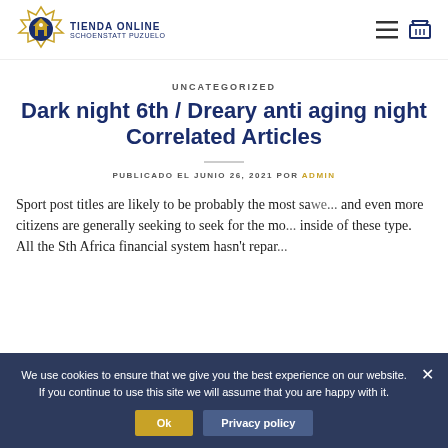TIENDA ONLINE SCHOENSTATT PUZUELO
UNCATEGORIZED
Dark night 6th / Dreary anti aging night Correlated Articles
PUBLICADO EL JUNIO 26, 2021 POR ADMIN
Sport post titles are likely to be probably the most sawe... and even more citizens are generally seeking to seek for the mo... inside of these type. All the Sth Africa financial system hasn't repar...
We use cookies to ensure that we give you the best experience on our website. If you continue to use this site we will assume that you are happy with it.